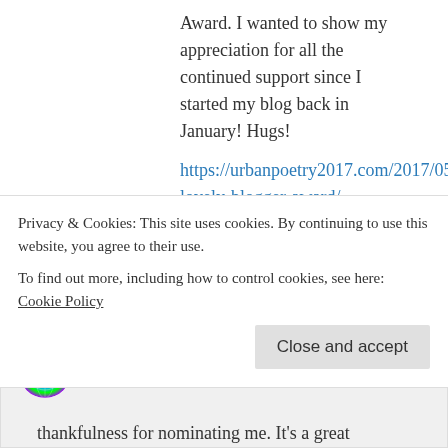Award. I wanted to show my appreciation for all the continued support since I started my blog back in January! Hugs!
https://urbanpoetry2017.com/2017/05/17/one-lovely-blogger-award/
Liked by 9 people
Log in to Reply
Didis Art Design on 17/05/2017 at 19:01
Privacy & Cookies: This site uses cookies. By continuing to use this website, you agree to their use.
To find out more, including how to control cookies, see here: Cookie Policy
Close and accept
thankfulness for nominating me. It's a great